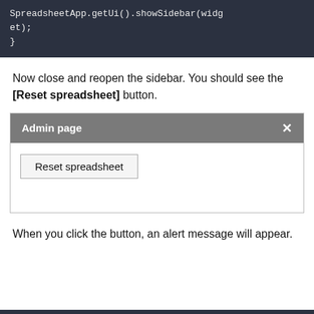[Figure (screenshot): Code block showing: SpreadsheetApp.getUi().showSidebar(widget); }]
Now close and reopen the sidebar. You should see the [Reset spreadsheet] button.
[Figure (screenshot): Admin page sidebar UI showing a 'Reset spreadsheet' button with a grey header and X close button]
When you click the button, an alert message will appear.